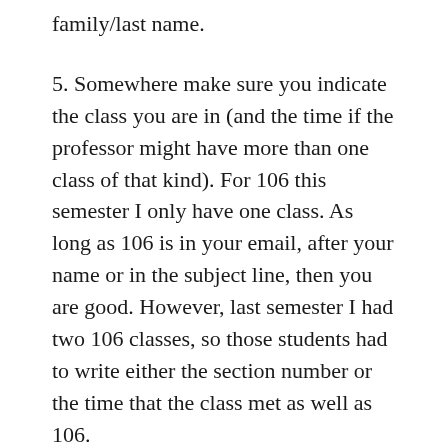family/last name.
5. Somewhere make sure you indicate the class you are in (and the time if the professor might have more than one class of that kind). For 106 this semester I only have one class. As long as 106 is in your email, after your name or in the subject line, then you are good. However, last semester I had two 106 classes, so those students had to write either the section number or the time that the class met as well as 106.
These are good tips for writing emails to professors in any department. Using them shows respect for the instructor and the course, which enhances your credibility and